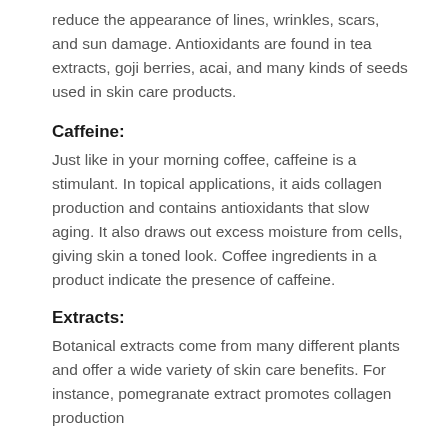reduce the appearance of lines, wrinkles, scars, and sun damage. Antioxidants are found in tea extracts, goji berries, acai, and many kinds of seeds used in skin care products.
Caffeine:
Just like in your morning coffee, caffeine is a stimulant. In topical applications, it aids collagen production and contains antioxidants that slow aging. It also draws out excess moisture from cells, giving skin a toned look. Coffee ingredients in a product indicate the presence of caffeine.
Extracts:
Botanical extracts come from many different plants and offer a wide variety of skin care benefits. For instance, pomegranate extract promotes collagen production